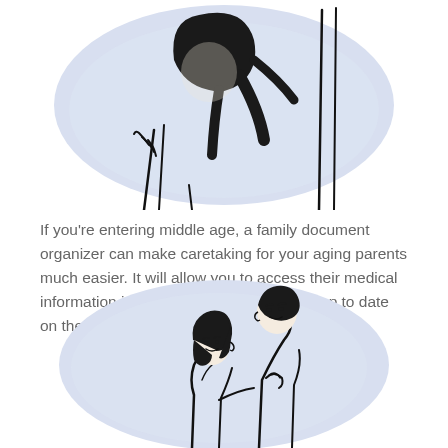[Figure (illustration): Partial illustration of two people (likely elderly/middle-aged figures) with dark hair, shown from roughly the shoulders up, set against a soft blue-purple rounded background shape.]
If you’re entering middle age, a family document organizer can make caretaking for your aging parents much easier. It will allow you to access their medical information in an emergency and to stay up to date on their estate plans.
[Figure (illustration): Illustration of a couple — a woman with short dark hair leaning toward a taller man in a suit, both smiling — set against a soft lavender/blue rounded background shape.]